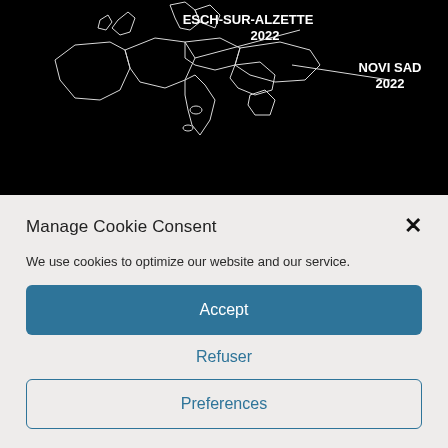[Figure (map): Black background map of Europe with white outlined country borders. Two labels with lines pointing to locations: 'ESCH-SUR-ALZETTE 2022' pointing to Luxembourg area, and 'NOVI SAD 2022' pointing to Serbia area.]
Manage Cookie Consent
We use cookies to optimize our website and our service.
Accept
Refuser
Preferences